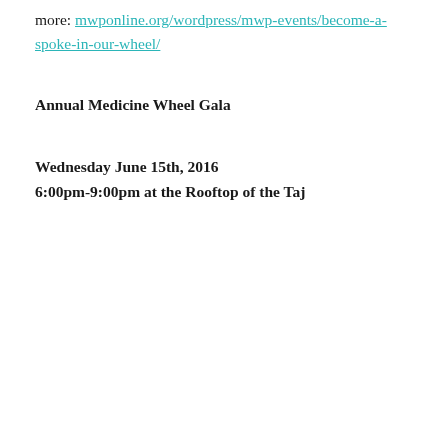more: mwponline.org/wordpress/mwp-events/become-a-spoke-in-our-wheel/
Annual Medicine Wheel Gala
Wednesday June 15th, 2016
6:00pm-9:00pm at the Rooftop of the Taj